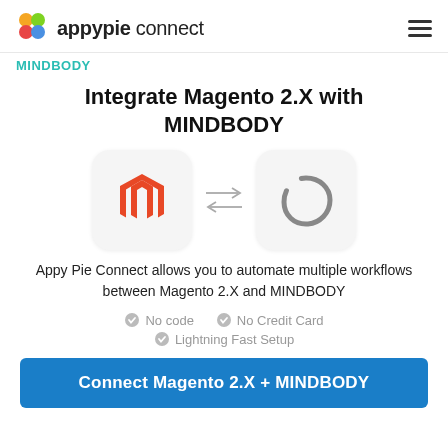appypie connect
MINDBODY
Integrate Magento 2.X with MINDBODY
[Figure (logo): Magento 2.X logo (orange M shape) and MINDBODY logo (dark circle brushstroke) with double-headed arrows between them]
Appy Pie Connect allows you to automate multiple workflows between Magento 2.X and MINDBODY
No code
No Credit Card
Lightning Fast Setup
Connect Magento 2.X + MINDBODY